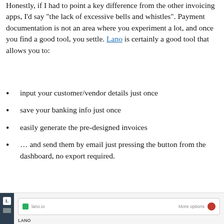Honestly, if I had to point a key difference from the other invoicing apps, I'd say "the lack of excessive bells and whistles". Payment documentation is not an area where you experiment a lot, and once you find a good tool, you settle. Lano is certainly a good tool that allows you to:
input your customer/vendor details just once
save your banking info just once
easily generate the pre-designed invoices
… and send them by email just pressing the button from the dashboard, no export required.
[Figure (screenshot): Screenshot of the Lano dashboard interface showing navigation sidebar and top bar]